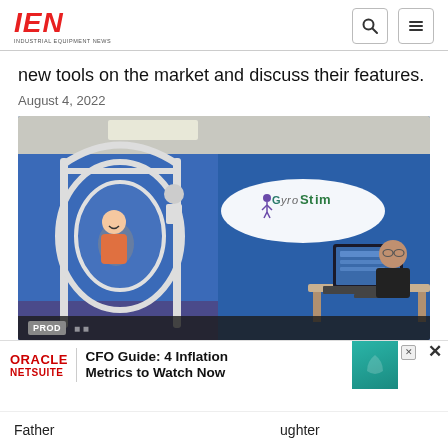IEN INDUSTRIAL EQUIPMENT NEWS
new tools on the market and discuss their features.
August 4, 2022
[Figure (photo): Photo of a woman inside a GyroStim multi-axis rotational chair device with white metal frame in a room with blue walls, and another person seated at a computer workstation monitoring. GyroStim logo visible on the wall.]
Father ... aughter
[Figure (other): Oracle NetSuite advertisement: CFO Guide: 4 Inflation Metrics to Watch Now]